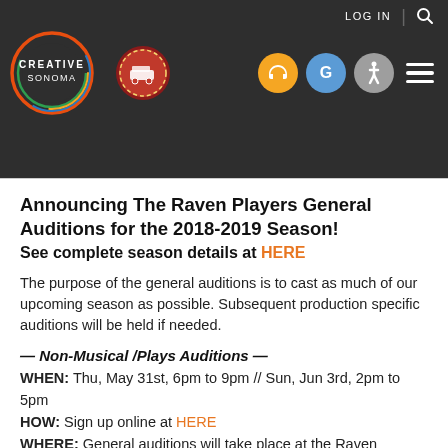[Figure (screenshot): Creative Sonoma website header with logo, navigation badge, accessibility icons, and LOG IN / search controls on dark background]
Announcing The Raven Players General Auditions for the 2018-2019 Season!
See complete season details at HERE
The purpose of the general auditions is to cast as much of our upcoming season as possible. Subsequent production specific auditions will be held if needed.
— Non-Musical /Plays Auditions —
WHEN: Thu, May 31st, 6pm to 9pm // Sun, Jun 3rd, 2pm to 5pm
HOW: Sign up online at HERE
WHERE: General auditions will take place at the Raven Performing Arts Theater, 115 North St., Healdsburg CA 95448
Arrivals without appointment will be accepted based on availability of open slots, on a first-come first-serve basis. If you cannot attend either day, we will make every effort to